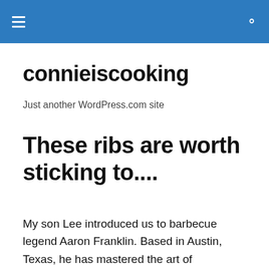connieiscooking
connieiscooking
Just another WordPress.com site
These ribs are worth sticking to....
My son Lee introduced us to barbecue legend Aaron Franklin. Based in Austin, Texas, he has mastered the art of barbecuing/smoking and has shared his vast experience with those of us who share his love for anything and everything barbecue via his restaurant, Franklin Barbecue, and through online tutorials and